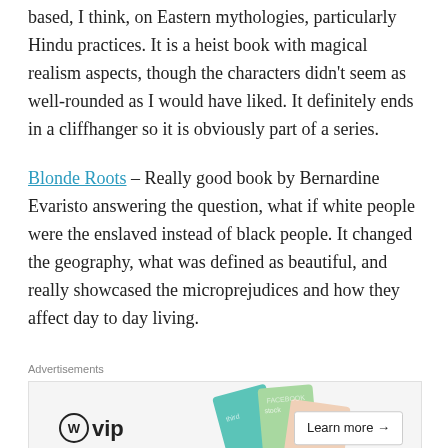based, I think, on Eastern mythologies, particularly Hindu practices. It is a heist book with magical realism aspects, though the characters didn't seem as well-rounded as I would have liked. It definitely ends in a cliffhanger so it is obviously part of a series.
Blonde Roots – Really good book by Bernardine Evaristo answering the question, what if white people were the enslaved instead of black people. It changed the geography, what was defined as beautiful, and really showcased the microprejudices and how they affect day to day living.
[Figure (other): WordPress VIP advertisement banner with colorful cards in background and 'Learn more →' button]
An American Marriage – Tayari Jones is a hard author to read because I don't agree with her characters' choices. But the